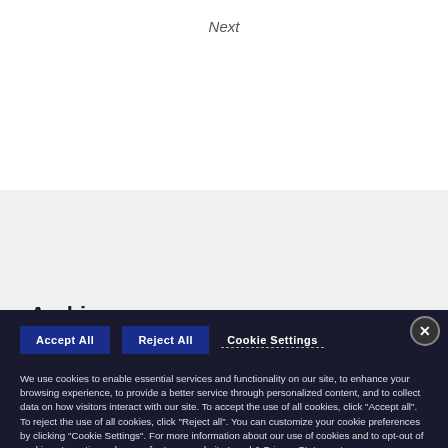Next
Tools
Announcements RSS
Archi...
We use cookies to enable essential services and functionality on our site, to enhance your browsing experience, to provide a better service through personalized content, and to collect data on how visitors interact with our site. To accept the use of all cookies, click "Accept all". To reject the use of all cookies, click "Reject all". You can customize your cookie preferences by clicking "Cookie Settings". For more information about our use of cookies and to opt-out of cookies at any time, please refer to our website Legal & Privacy Statement.